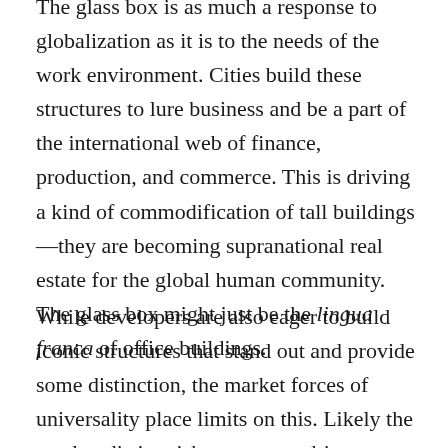The glass box is as much a response to globalization as it is to the needs of the work environment. Cities build these structures to lure business and be a part of the international web of finance, production, and commerce. This is driving a kind of commodification of tall buildings—they are becoming supranational real estate for the global human community. The glass box might just be the lingua franca of office buildings.
While developers are also eager to build iconic structures that stand out and provide some distinction, the market forces of universality place limits on this. Likely the need to distinguish a structure drives developers to go